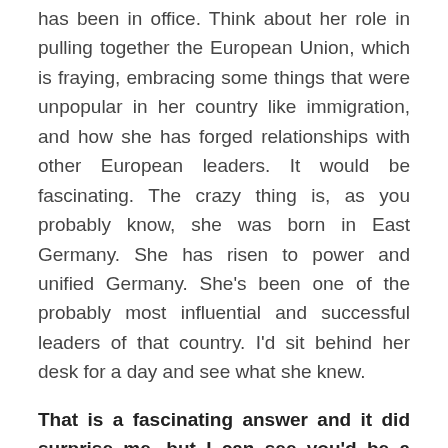has been in office. Think about her role in pulling together the European Union, which is fraying, embracing some things that were unpopular in her country like immigration, and how she has forged relationships with other European leaders. It would be fascinating. The crazy thing is, as you probably know, she was born in East Germany. She has risen to power and unified Germany. She’s been one of the probably most influential and successful leaders of that country. I’d sit behind her desk for a day and see what she knew.
That is a fascinating answer and it did surprise me, but I can see you’d be a great fit there. Meg, this has been rewarding for all of us. I